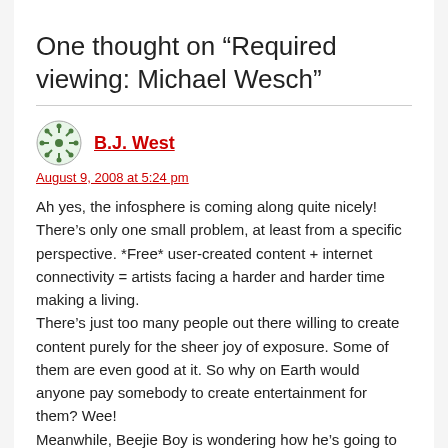One thought on “Required viewing: Michael Wesch”
B.J. West
August 9, 2008 at 5:24 pm
Ah yes, the infosphere is coming along quite nicely! There’s only one small problem, at least from a specific perspective. *Free* user-created content + internet connectivity = artists facing a harder and harder time making a living.
There’s just too many people out there willing to create content purely for the sheer joy of exposure. Some of them are even good at it. So why on Earth would anyone pay somebody to create entertainment for them? Wee!
Meanwhile, Beejie Boy is wondering how he’s going to make rent next month without getting a miserable non-art related job.